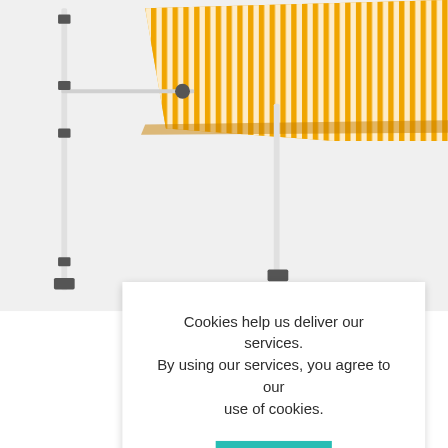[Figure (photo): Product photo of an outdoor retractable awning with yellow and white stripes, mounted on white poles]
Cookies help us deliver our services. By using our services, you agree to our use of cookies.
OK
Learn more
Outd
$193.57  $113.86
ADD TO CART